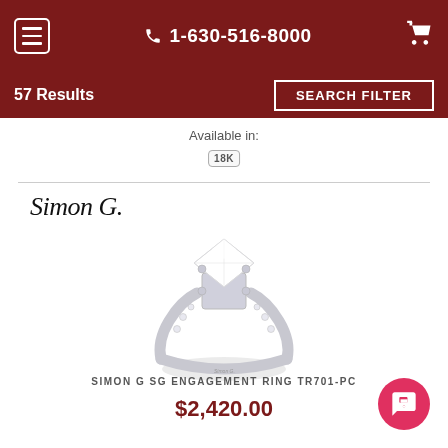1-630-516-8000
57 Results
SEARCH FILTER
Available in:
18K
[Figure (logo): Simon G. brand logo in italic serif font]
[Figure (photo): Simon G. engagement ring TR701-PC with princess cut diamond center stone on a white gold or platinum band with pave diamonds on the shoulders]
SIMON G SG ENGAGEMENT RING TR701-PC
$2,420.00